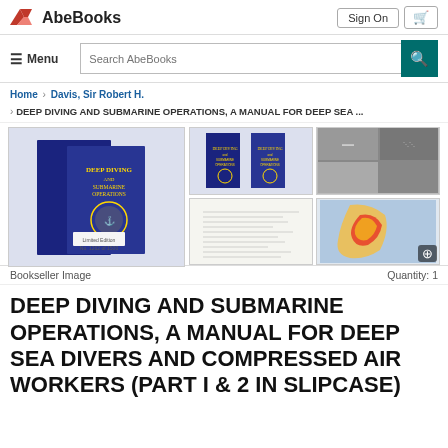AbeBooks
Menu | Search AbeBooks
Home > Davis, Sir Robert H. > DEEP DIVING AND SUBMARINE OPERATIONS, A MANUAL FOR DEEP SEA ...
[Figure (photo): Book product images showing two blue hardcover volumes of 'Deep Diving and Submarine Operations', with interior pages and a colorful map visible in thumbnail images]
Bookseller Image             Quantity: 1
DEEP DIVING AND SUBMARINE OPERATIONS, A MANUAL FOR DEEP SEA DIVERS AND COMPRESSED AIR WORKERS (PART I & 2 IN SLIPCASE)